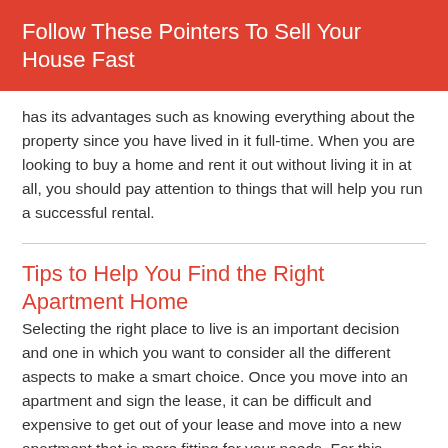Follow These Pointers To Sell Your House Fast
has its advantages such as knowing everything about the property since you have lived in it full-time. When you are looking to buy a home and rent it out without living it in at all, you should pay attention to things that will help you run a successful rental.
Tips to Help You Find the Right Apartment Home
Selecting the right place to live is an important decision and one in which you want to consider all the different aspects to make a smart choice. Once you move into an apartment and sign the lease, it can be difficult and expensive to get out of your lease and move into a new apartment that is more fitting for your needs. For this reason, you should always complete due diligence in the research and selection process.